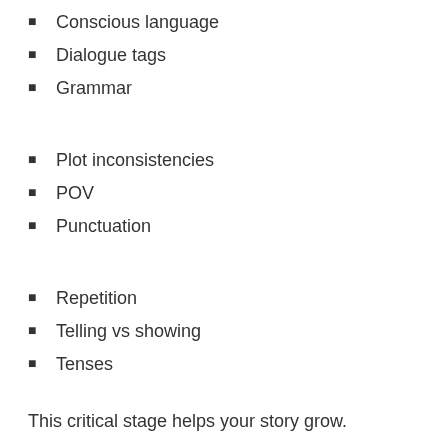Conscious language
Dialogue tags
Grammar
Plot inconsistencies
POV
Punctuation
Repetition
Telling vs showing
Tenses
This critical stage helps your story grow.